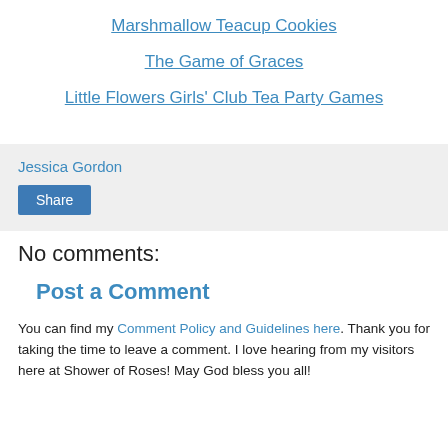Marshmallow Teacup Cookies
The Game of Graces
Little Flowers Girls' Club Tea Party Games
Jessica Gordon
Share
No comments:
Post a Comment
You can find my Comment Policy and Guidelines here. Thank you for taking the time to leave a comment. I love hearing from my visitors here at Shower of Roses! May God bless you all!